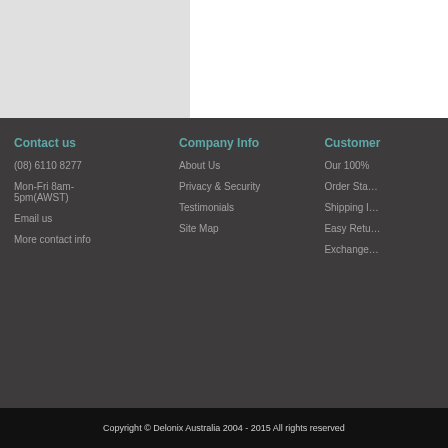[Figure (other): Gray rectangle top-left area, white area top-right — website header/banner region]
Contact us
(08) 6110 8277
Mon-Fri 8am- 5pm(AWST)
Email us
More contact info
Company Info
About Us
Privacy & Security
Testimonials
Site Map
Customer
Our 100%
Order Sta…
Shipping I…
Easy Retu…
Exchange…
We Accept
Secure Sho…
Copyright © Delonix Australia 2004 - 2015 All rights reserved